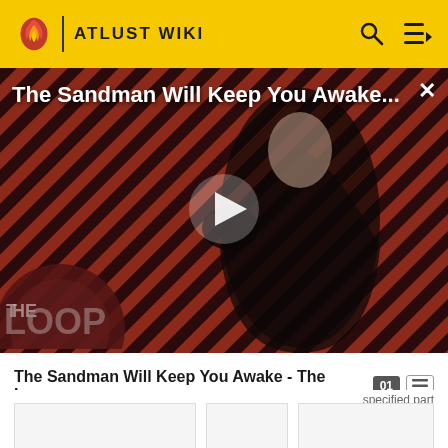ATLUST WIKI
[Figure (screenshot): Video thumbnail of 'The Sandman Will Keep You Awake...' showing a dark-clad figure holding a raven, with diagonal striped red/dark background and 'The Loop' logo overlay. A play button is visible in the center.]
The Sandman Will Keep You Awake - The Loop
specified part...